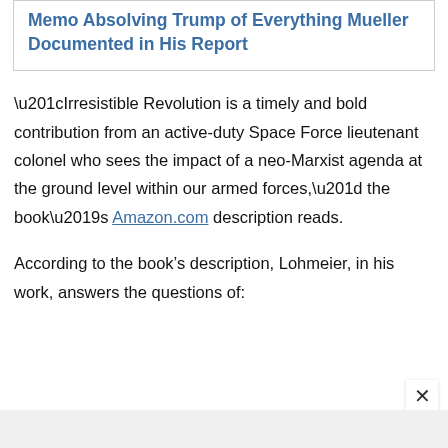Memo Absolving Trump of Everything Mueller Documented in His Report
“Irresistible Revolution is a timely and bold contribution from an active-duty Space Force lieutenant colonel who sees the impact of a neo-Marxist agenda at the ground level within our armed forces,” the book’s Amazon.com description reads.
According to the book’s description, Lohmeier, in his work, answers the questions of: